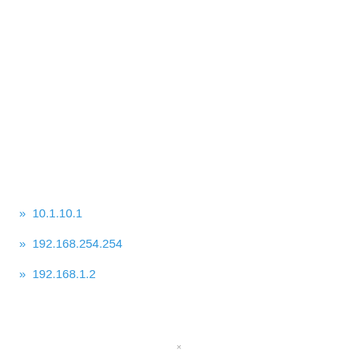» 10.1.10.1
» 192.168.254.254
» 192.168.1.2